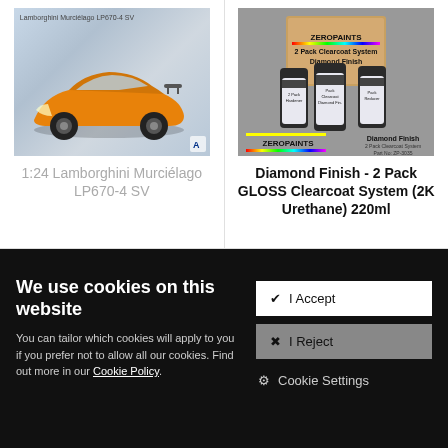[Figure (photo): Orange Lamborghini Murciélago LP670-4 SV model car kit product image]
1:24 Lamborghini Murciélago LP670-4 SV
[Figure (photo): ZeroPaints 2 Pack Clearcoat System Diamond Finish bottles product image]
Diamond Finish - 2 Pack GLOSS Clearcoat System (2K Urethane) 220ml
We use cookies on this website
You can tailor which cookies will apply to you if you prefer not to allow all our cookies. Find out more in our Cookie Policy.
✔ I Accept
✖ I Reject
⚙ Cookie Settings